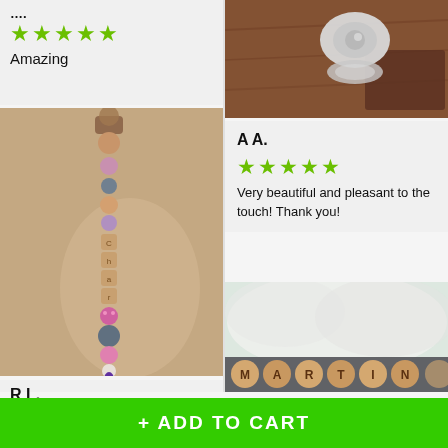Amazing
[Figure (photo): Photo of a beaded pacifier clip with wooden and silicone beads, letter beads spelling a name, hung vertically on a beige background]
R L.
[Figure (photo): Close-up photo of a pacifier on a wooden surface, viewed from above]
A A.
Very beautiful and pleasant to the touch! Thank you!
[Figure (photo): Close-up photo of wooden letter beads on a white fluffy surface, spelling MARTIN]
+ ADD TO CART